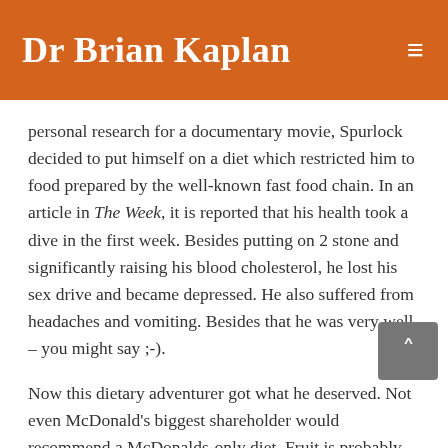Dr Brian Kaplan
personal research for a documentary movie, Spurlock decided to put himself on a diet which restricted him to food prepared by the well-known fast food chain. In an article in The Week, it is reported that his health took a dive in the first week. Besides putting on 2 stone and significantly raising his blood cholesterol, he lost his sex drive and became depressed. He also suffered from headaches and vomiting. Besides that he was very well – you might say ;-).
Now this dietary adventurer got what he deserved. Not even McDonald's biggest shareholder would recommend a McDonalds-only diet. Fruit is probably one of the healthiest foods around yet if you eat fruit